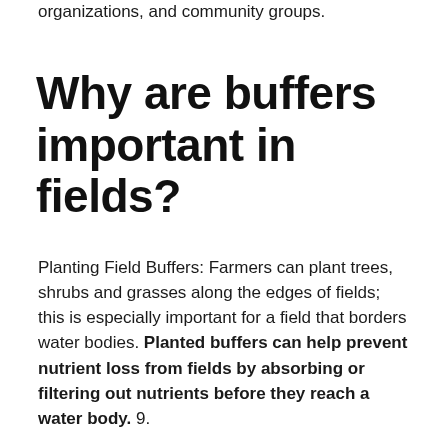educational institutions, non-profit organizations, and community groups.
Why are buffers important in fields?
Planting Field Buffers: Farmers can plant trees, shrubs and grasses along the edges of fields; this is especially important for a field that borders water bodies. Planted buffers can help prevent nutrient loss from fields by absorbing or filtering out nutrients before they reach a water body. 9.